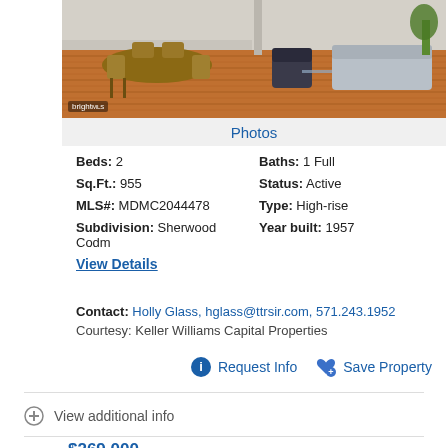[Figure (photo): Interior photo of a living/dining area with hardwood floors, mid-century modern furniture, dining table with chairs on the left, and living room seating on the right with a plant.]
Photos
Beds: 2   Baths: 1 Full
Sq.Ft.: 955   Status: Active
MLS#: MDMC2044478   Type: High-rise
Subdivision: Sherwood Codm   Year built: 1957
View Details
Contact: Holly Glass, hglass@ttrsir.com, 571.243.1952
Courtesy: Keller Williams Capital Properties
Request Info   Save Property
View additional info
$269,000